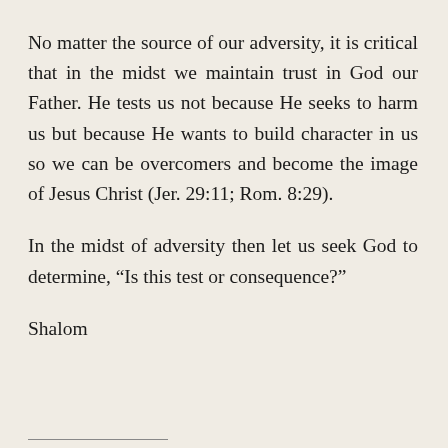No matter the source of our adversity, it is critical that in the midst we maintain trust in God our Father. He tests us not because He seeks to harm us but because He wants to build character in us so we can be overcomers and become the image of Jesus Christ (Jer. 29:11; Rom. 8:29).
In the midst of adversity then let us seek God to determine, “Is this test or consequence?”
Shalom